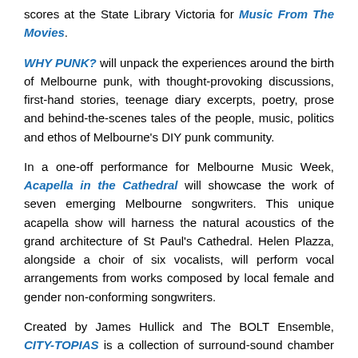scores at the State Library Victoria for Music From The Movies.
WHY PUNK? will unpack the experiences around the birth of Melbourne punk, with thought-provoking discussions, first-hand stories, teenage diary excerpts, poetry, prose and behind-the-scenes tales of the people, music, politics and ethos of Melbourne's DIY punk community.
In a one-off performance for Melbourne Music Week, Acapella in the Cathedral will showcase the work of seven emerging Melbourne songwriters. This unique acapella show will harness the natural acoustics of the grand architecture of St Paul's Cathedral. Helen Plazza, alongside a choir of six vocalists, will perform vocal arrangements from works composed by local female and gender non-conforming songwriters.
Created by James Hullick and The BOLT Ensemble, CITY-TOPIAS is a collection of surround-sound chamber orchestra works that include incursions from kinetic sound machines and video art so as to explore the notion of the -topia affix, while Disruptive